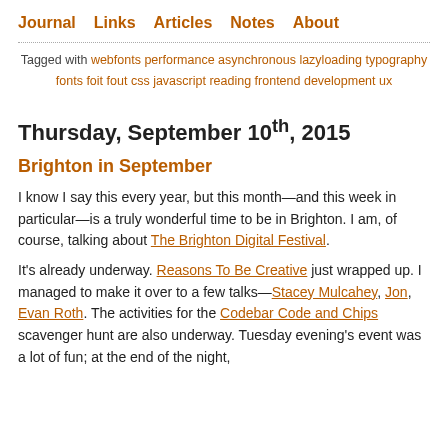Journal  Links  Articles  Notes  About
Tagged with webfonts performance asynchronous lazyloading typography fonts foit fout css javascript reading frontend development ux
Thursday, September 10th, 2015
Brighton in September
I know I say this every year, but this month—and this week in particular—is a truly wonderful time to be in Brighton. I am, of course, talking about The Brighton Digital Festival.
It's already underway. Reasons To Be Creative just wrapped up. I managed to make it over to a few talks—Stacey Mulcahey, Jon, Evan Roth. The activities for the Codebar Code and Chips scavenger hunt are also underway. Tuesday evening's event was a lot of fun; at the end of the night,